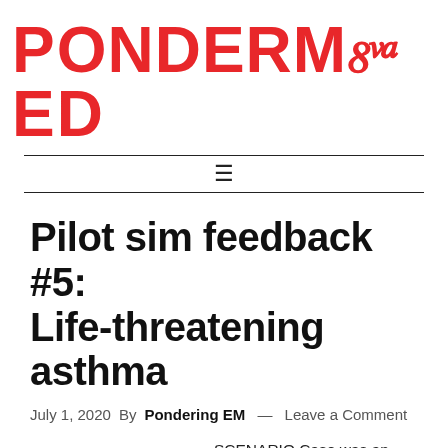PONDERMED
Pilot sim feedback #5: Life-threatening asthma
July 1, 2020 By Pondering EM — Leave a Comment
[Figure (photo): Partial image of a person, cropped at bottom of page]
SCENARIO Case was an acute severe/life threatening asthma